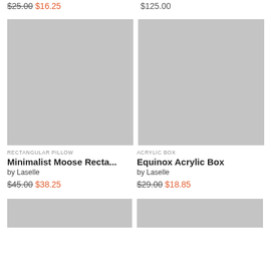$25.00 $16.25
$125.00
[Figure (photo): Gray placeholder image for Minimalist Moose Rectangular Pillow product]
[Figure (photo): Gray placeholder image for Equinox Acrylic Box product]
RECTANGULAR PILLOW
ACRYLIC BOX
Minimalist Moose Recta...
Equinox Acrylic Box
by Laselle
by Laselle
$45.00 $38.25
$29.00 $18.85
[Figure (photo): Gray placeholder image, bottom left, partially visible]
[Figure (photo): Gray placeholder image, bottom right, partially visible]